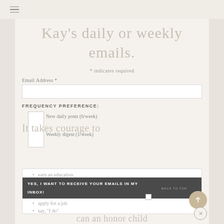≡
Kay's daily or weekly emails.
* indicates required
Email Address *
FREQUENCY PREFERENCE:
New daily posts (6/week)
Weekly digest (1/week)
It takes courage to
earn an education
YES, I WANT TO RECEIVE YOUR EMAILS IN MY INBOX!
apply for a job
say, "I do"
BACK TO TOP
can an honor child